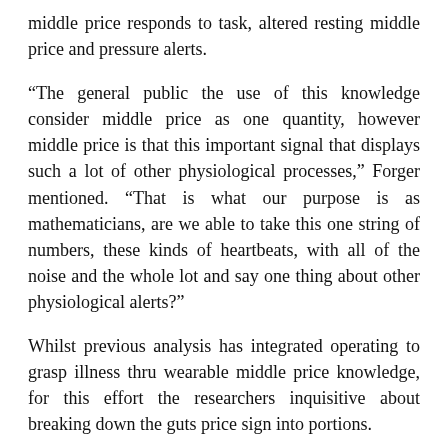middle price responds to task, altered resting middle price and pressure alerts.
“The general public the use of this knowledge consider middle price as one quantity, however middle price is that this important signal that displays such a lot of other physiological processes,” Forger mentioned. “That is what our purpose is as mathematicians, are we able to take this one string of numbers, these kinds of heartbeats, with all of the noise and the whole lot and say one thing about other physiological alerts?”
Whilst previous analysis has integrated operating to grasp illness thru wearable middle price knowledge, for this effort the researchers inquisitive about breaking down the guts price sign into portions.
The group used knowledge from the 2019 and 2020 cohorts of the Intern Well being Learn about, which follows physicians all through their first 12 months of residency, and the Roadman Faculty Pupil Information Set, which checked out